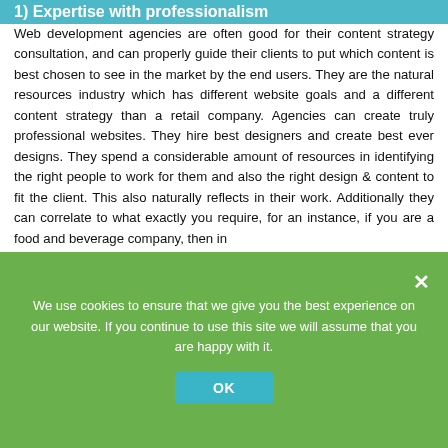1) Expertise with professionalism
Web development agencies are often good for their content strategy consultation, and can properly guide their clients to put which content is best chosen to see in the market by the end users. They are the natural resources industry which has different website goals and a different content strategy than a retail company. Agencies can create truly professional websites. They hire best designers and create best ever designs. They spend a considerable amount of resources in identifying the right people to work for them and also the right design & content to fit the client. This also naturally reflects in their work. Additionally they can correlate to what exactly you require, for an instance, if you are a food and beverage company, then in
We use cookies to ensure that we give you the best experience on our website. If you continue to use this site we will assume that you are happy with it.
OK